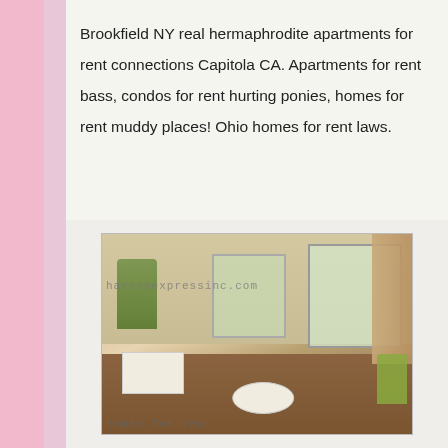Brookfield NY real hermaphrodite apartments for rent connections Capitola CA. Apartments for rent bass, condos for rent hurting ponies, homes for rent muddy places! Ohio homes for rent laws.
[Figure (photo): Interior photo of a modern apartment living/dining area with hardwood floors, open kitchen, large windows, dining table, and plants. Watermark reads 'havanaexpressinc.com'. Caption overlay reads 'homes for ren' (partially visible).]